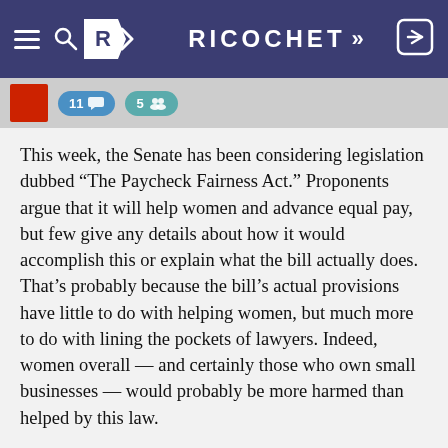RICOCHET
[Figure (screenshot): Social engagement bar showing red thumbnail image, '11 comments' badge in blue, and '5 members' badge in teal]
This week, the Senate has been considering legislation dubbed “The Paycheck Fairness Act.” Proponents argue that it will help women and advance equal pay, but few give any details about how it would accomplish this or explain what the bill actually does. That’s probably because the bill’s actual provisions have little to do with helping women, but much more to do with lining the pockets of lawyers. Indeed, women overall — and certainly those who own small businesses — would probably be more harmed than helped by this law.
Test your knowledge of what’s really in “The Paycheck Fairness Act” by taking this short quiz created by the Independent Women’s Forum. Encourage your friends to do the same. As is often the